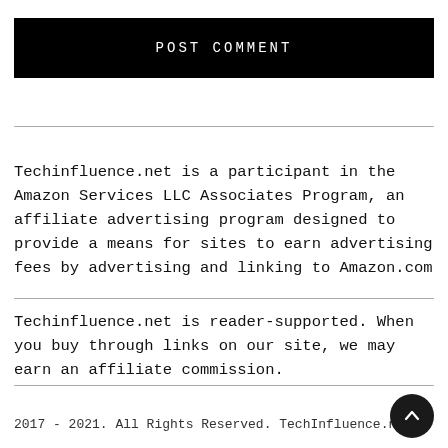POST COMMENT
Techinfluence.net is a participant in the Amazon Services LLC Associates Program, an affiliate advertising program designed to provide a means for sites to earn advertising fees by advertising and linking to Amazon.com
Techinfluence.net is reader-supported. When you buy through links on our site, we may earn an affiliate commission.
2017 - 2021. All Rights Reserved. TechInfluence.net